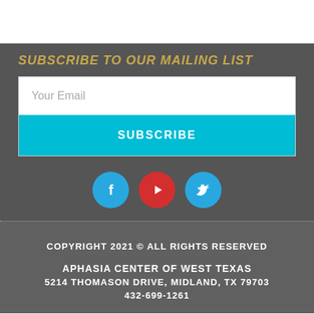SUBSCRIBE TO OUR MAILING LIST
[Figure (other): Email subscription form with 'Your Email' input field and a cyan 'SUBSCRIBE' button]
[Figure (other): Social media icons: Facebook (blue circle), YouTube (red circle), Twitter (blue circle)]
COPYRIGHT 2021 © ALL RIGHTS RESERVED
APHASIA CENTER OF WEST TEXAS
5214 THOMASON DRIVE, MIDLAND, TX 79703
432-699-1261